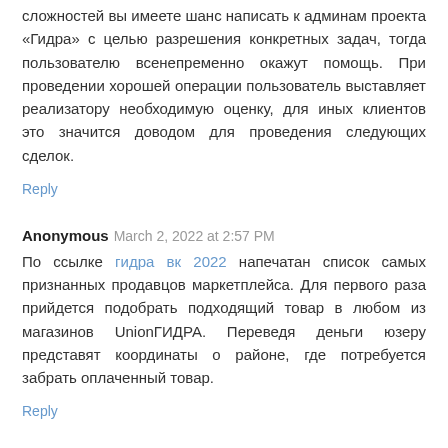сложностей вы имеете шанс написать к админам проекта «Гидра» с целью разрешения конкретных задач, тогда пользователю всенепременно окажут помощь. При проведении хорошей операции пользователь выставляет реализатору необходимую оценку, для иных клиентов это значится доводом для проведения следующих сделок.
Reply
Anonymous March 2, 2022 at 2:57 PM
По ссылке гидра вк 2022 напечатан список самых признанных продавцов маркетплейса. Для первого раза прийдется подобрать подходящий товар в любом из магазинов UnionГИДРА. Переведя деньги юзеру представят координаты о районе, где потребуется забрать оплаченный товар.
Reply
Anonymous March 2, 2022 at 5:48 PM